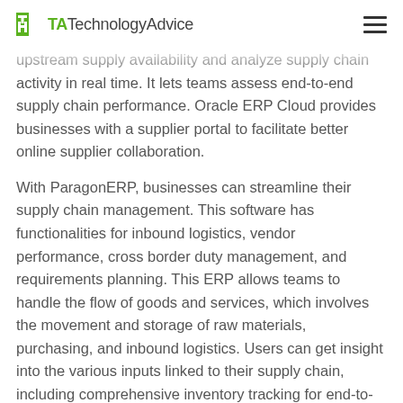TechnologyAdvice
upstream supply availability and analyze supply chain activity in real time. It lets teams assess end-to-end supply chain performance. Oracle ERP Cloud provides businesses with a supplier portal to facilitate better online supplier collaboration.
With ParagonERP, businesses can streamline their supply chain management. This software has functionalities for inbound logistics, vendor performance, cross border duty management, and requirements planning. This ERP allows teams to handle the flow of goods and services, which involves the movement and storage of raw materials, purchasing, and inbound logistics. Users can get insight into the various inputs linked to their supply chain, including comprehensive inventory tracking for end-to-end traceability, reporting tools to calculate and ensure cost-effective operations, and complete inbound logistics management.